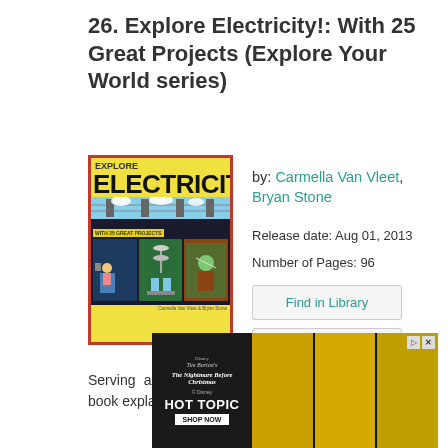26. Explore Electricity!: With 25 Great Projects (Explore Your World series)
[Figure (illustration): Book cover for 'Explore Electricity!' featuring yellow background with bold black title text, power lines scene, and comic-style panels showing characters and wind turbines, red border]
by: Carmella Van Vleet, Bryan Stone
Release date: Aug 01, 2013
Number of Pages: 96
Find in Library
Read Review
Serving as an introduction to electricity, this activity book explains the workings of batteries, simple circuits,
[Figure (photo): Hot Topic advertisement banner featuring Disney's Nightmare Before Christmas branding and models wearing green outfits on yellow background]